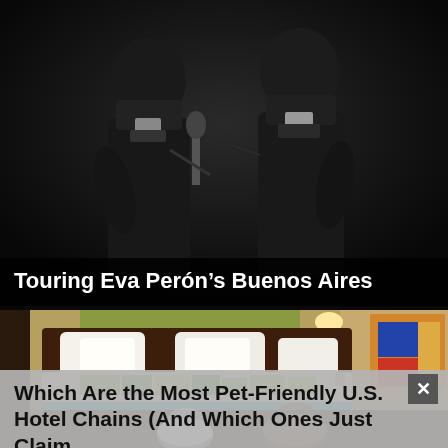[Figure (photo): Black and white photograph of two people in formal attire, one holding a microphone, dark background]
Touring Eva Perón's Buenos Aires
[Figure (photo): Hotel room with a large bed with white pillows and colorful bedding, wall lamp, colorful artwork, two dogs sitting on the floor in front of the bed — one white, one brown]
Which Are the Most Pet-Friendly U.S. Hotel Chains (And Which Ones Just Claim